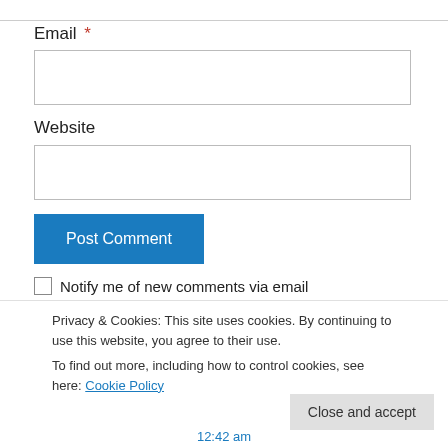Email *
[Figure (screenshot): Empty email input text field]
Website
[Figure (screenshot): Empty website input text field]
Post Comment
Notify me of new comments via email
Privacy & Cookies: This site uses cookies. By continuing to use this website, you agree to their use.
To find out more, including how to control cookies, see here: Cookie Policy
Close and accept
12:42 am